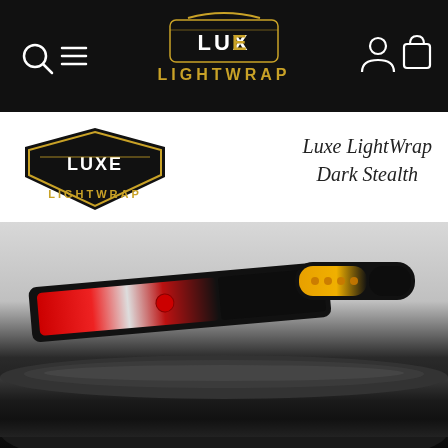[Figure (logo): Luxe LightWrap logo in gold and white on black navigation header bar with search and menu icons on left, user and cart icons on right]
[Figure (logo): Luxe LightWrap brand logo — gold shield emblem with LUXE text and gold metallic LIGHTWRAP lettering below]
Luxe LightWrap
Dark Stealth
[Figure (photo): Product photo showing a car tail light partially wrapped in black Dark Stealth film revealing red and clear sections, and a small amber LED marker light half-wrapped in black film, with a roll of matte black vinyl film in the foreground]